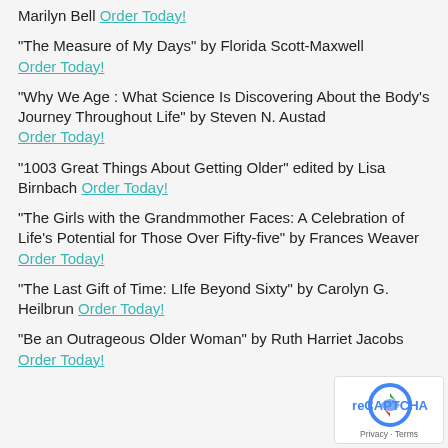Marilyn Bell Order Today!
"The Measure of My Days" by Florida Scott-Maxwell Order Today!
"Why We Age : What Science Is Discovering About the Body's Journey Throughout Life" by Steven N. Austad Order Today!
"1003 Great Things About Getting Older" edited by Lisa Birnbach Order Today!
"The Girls with the Grandmmother Faces: A Celebration of Life's Potential for Those Over Fifty-five" by Frances Weaver Order Today!
"The Last Gift of Time: LIfe Beyond Sixty" by Carolyn G. Heilbrun Order Today!
"Be an Outrageous Older Woman" by Ruth Harriet Jacobs Order Today!